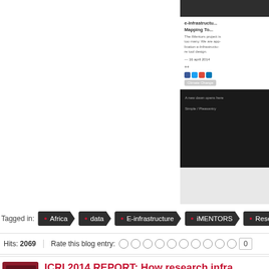[Figure (screenshot): Screenshot of e-Infrastructure Mapping Tool webpage with dark header, white content card, social sharing icons, and a dark bottom section]
Tagged in:  Africa  data  E-infrastructure  iMENTORS  Resea...
Hits: 2069   Rate this blog entry:
ICRI 2014 REPORT: How research infra...
Posted by iMentors Webmaster on Thursday, 10 April 2014 in...
Athina Vrakatseli, project Dissemination and Sustainability leader and Head of Poli...